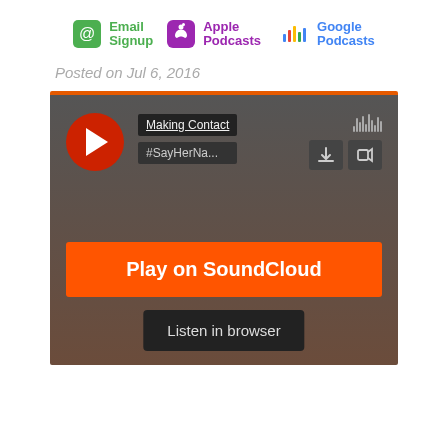[Figure (screenshot): Navigation bar with Email Signup (green @), Apple Podcasts (purple podcast icon), and Google Podcasts (colorful bars icon) links]
Posted on Jul 6, 2016
[Figure (screenshot): SoundCloud embedded audio player widget showing 'Making Contact' track '#SayHerNa...' with play button, download and share icons, 'Play on SoundCloud' orange button, and 'Listen in browser' dark button]